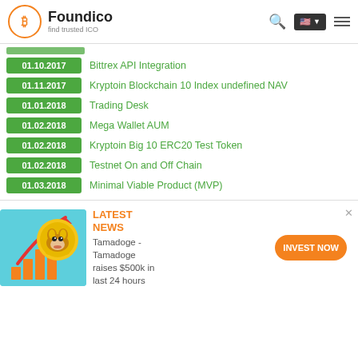Foundico - find trusted ICO
01.10.2017 Bittrex API Integration
01.11.2017 Kryptoin Blockchain 10 Index undefined NAV
01.01.2018 Trading Desk
01.02.2018 Mega Wallet AUM
01.02.2018 Kryptoin Big 10 ERC20 Test Token
01.02.2018 Testnet On and Off Chain
01.03.2018 Minimal Viable Product (MVP)
[Figure (illustration): Tamadoge advertisement banner with shiba inu dog coin and rising bar chart on teal background]
LATEST NEWS Tamadoge - Tamadoge raises $500k in last 24 hours
INVEST NOW